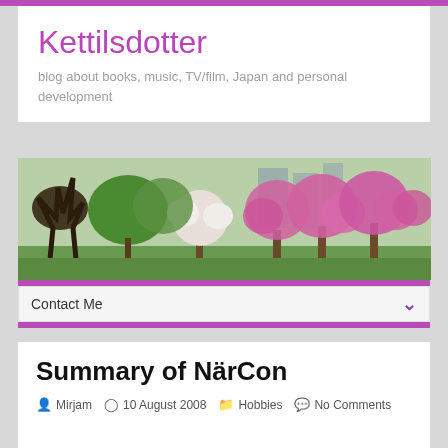Kettilsdotter
blog about books, music, TV/film, Japan and personal development
[Figure (photo): Wide banner photo of a park with cherry blossom trees in bloom — pink flowering trees on the right, white blossoms in the center, bare dark trees on the left, green foliage and buildings in the background]
Contact Me
Summary of NärCon
Mirjam   10 August 2008   Hobbies   No Comments